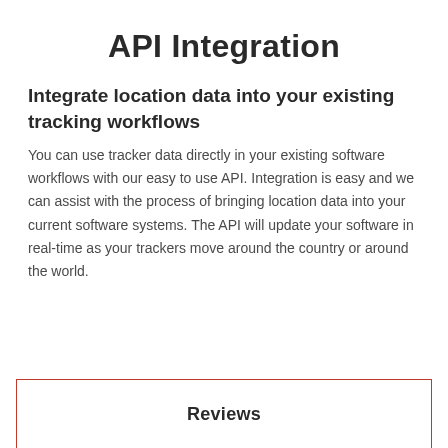API Integration
Integrate location data into your existing tracking workflows
You can use tracker data directly in your existing software workflows with our easy to use API. Integration is easy and we can assist with the process of bringing location data into your current software systems. The API will update your software in real-time as your trackers move around the country or around the world.
Reviews